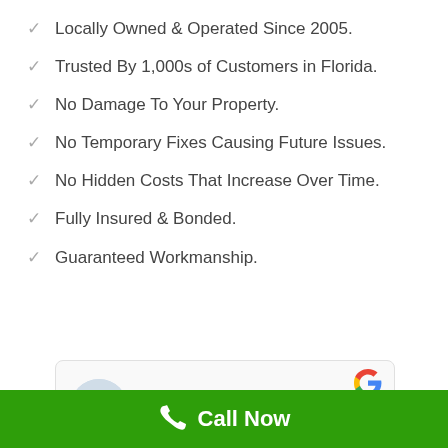Locally Owned & Operated Since 2005.
Trusted By 1,000s of Customers in Florida.
No Damage To Your Property.
No Temporary Fixes Causing Future Issues.
No Hidden Costs That Increase Over Time.
Fully Insured & Bonded.
Guaranteed Workmanship.
Rod Holland Real Estate Gro...
Call Now